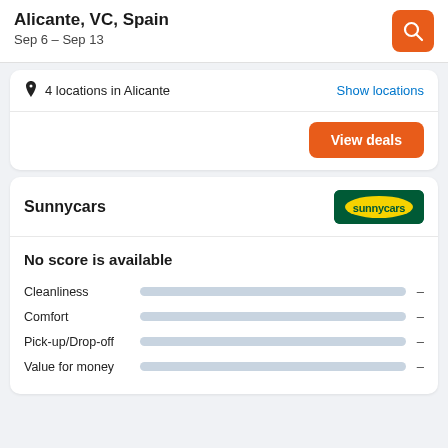Alicante, VC, Spain
Sep 6 – Sep 13
4 locations in Alicante
Show locations
View deals
Sunnycars
[Figure (logo): Sunnycars logo: green rounded rectangle with yellow oval containing 'sunnycars' text in green]
No score is available
Cleanliness –
Comfort –
Pick-up/Drop-off –
Value for money –